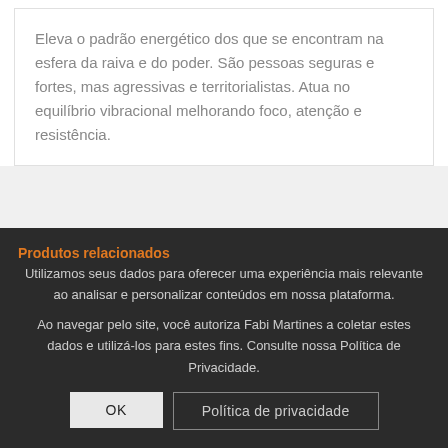Eleva o padrão energético dos que se encontram na esfera da raiva e do poder. São pessoas seguras e fortes, mas agressivas e territorialistas. Atua no equilíbrio vibracional melhorando foco, atenção e resistência.
Produtos relacionados
Utilizamos seus dados para oferecer uma experiência mais relevante ao analisar e personalizar conteúdos em nossa plataforma.
Ao navegar pelo site, você autoriza Fabi Martines a coletar estes dados e utilizá-los para estes fins. Consulte nossa Política de Privacidade.
OK
Política de privacidade